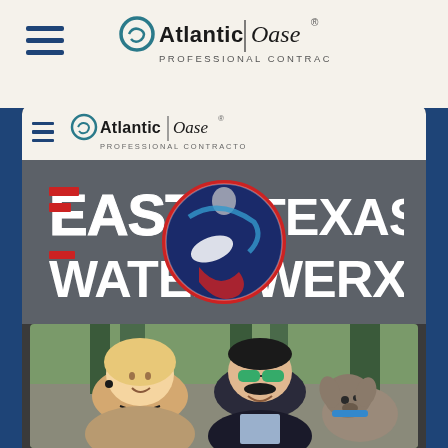[Figure (logo): Atlantic Oase Professional Contractor logo in top header area with hamburger menu icon on left]
[Figure (screenshot): Mobile phone screen mockup showing Atlantic Oase Professional Contractor logo in phone nav bar, East Texas Water Werx logo on dark grey background, and a photo of a couple with a dog outdoors]
[Figure (logo): East Texas Water Werx stylized logo with red/white/blue text and circular emblem in center]
[Figure (photo): Outdoor photo of a smiling blonde woman and a man with sunglasses and mustache holding a small schnauzer dog, wooded background]